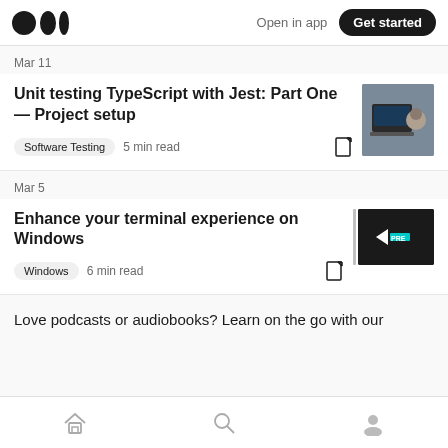Medium logo | Open in app | Get started
Mar 11
Unit testing TypeScript with Jest: Part One — Project setup
Software Testing  5 min read
Mar 5
Enhance your terminal experience on Windows
Windows  6 min read
Love podcasts or audiobooks? Learn on the go with our
Home | Search | Profile